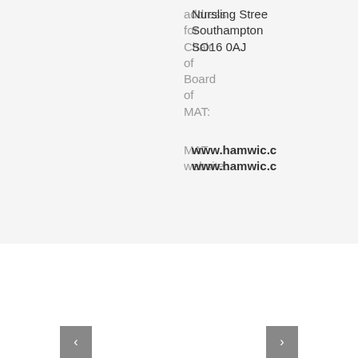address for Chair of Board of MAT:
Nursling Street, Southampton SO16 0AJ
MAT website:
www.hamwic.c www.hamwic.c